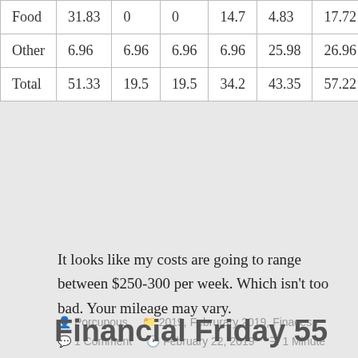| Food | 31.83 | 0 | 0 | 14.7 | 4.83 | 17.72 | 22.9 |
| Other | 6.96 | 6.96 | 6.96 | 6.96 | 25.98 | 26.96 | 6.96 |
| Total | 51.33 | 19.5 | 19.5 | 34.2 | 43.35 | 57.22 | 42.4 |
It looks like my costs are going to range between $250-300 per week. Which isn't too bad. Your mileage may vary.
Posted by Porcupous  Categories: 2019, Februrary 2019, Finaces  1 Comment  February 22, 2019  1 Minute
Financial Friday 55